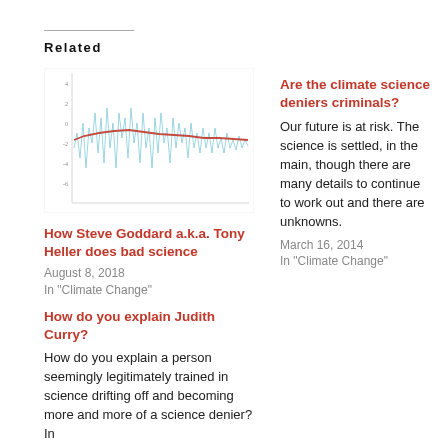Related
[Figure (continuous-plot): A line chart showing climate/temperature data over time with light blue jagged lines (raw data) and a red/orange smoothed trend line declining slightly over years. Y-axis has small numeric labels. No clear x-axis labels visible.]
How Steve Goddard a.k.a. Tony Heller does bad science
August 8, 2018
In "Climate Change"
Are the climate science deniers criminals?
Our future is at risk. The science is settled, in the main, though there are many details to continue to work out and there are unknowns.
March 16, 2014
In "Climate Change"
How do you explain Judith Curry?
How do you explain a person seemingly legitimately trained in science drifting off and becoming more and more of a science denier? In
August 20, 2015
In "Climate Change"